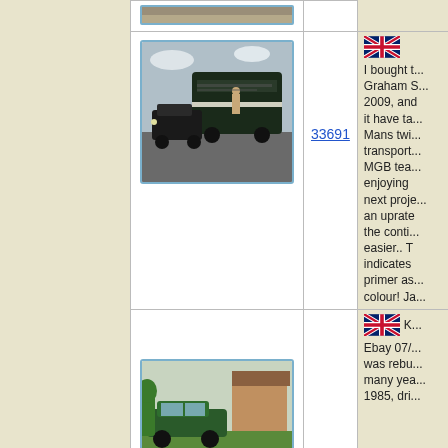[Figure (photo): Top row partial photo - crop at top of page]
[Figure (photo): Black vintage bus/transporter and classic car parked outdoors, people visible]
33691
I bought t... Graham S... 2009, and it have ta... Mans twi... transport... MGB tea... enjoying next proje... an uprate the conti... easier.. T indicates primer as... colour! Ja...
[Figure (photo): Green vintage car parked outside house]
K... Ebay 07/... was rebu... many yea... 1985, dri...